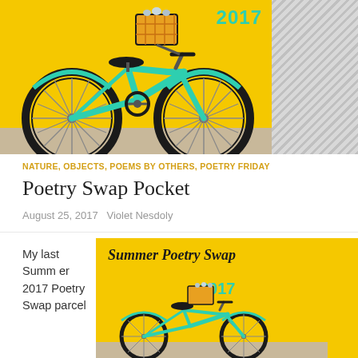[Figure (illustration): Illustration of a teal/turquoise beach cruiser bicycle with a yellow basket on front, against a bright yellow background. Text '2017' visible in teal at top right. Right side of image area has gray diagonal hatching.]
NATURE, OBJECTS, POEMS BY OTHERS, POETRY FRIDAY
Poetry Swap Pocket
August 25, 2017   Violet Nesdoly
My last Summer 2017 Poetry Swap parcel
[Figure (illustration): Illustration showing 'Summer Poetry Swap' in black cursive text and '2017' in teal, with a teal bicycle and yellow basket on bright yellow background.]